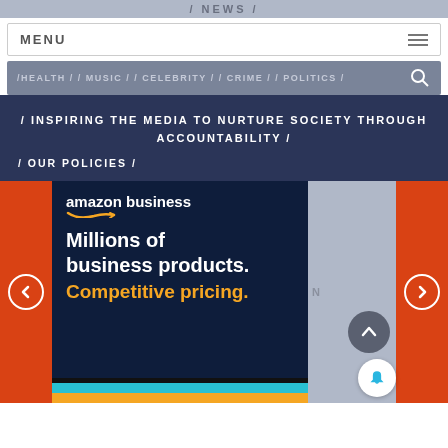/ NEWS /
MENU
/ HEALTH / / MUSIC / / CELEBRITY / / CRIME / / POLITICS /
/ INSPIRING THE MEDIA TO NURTURE SOCIETY THROUGH ACCOUNTABILITY /
/ OUR POLICIES /
[Figure (screenshot): Amazon Business advertisement showing 'Millions of business products. Competitive pricing.' with Amazon Business logo on dark navy background with colored stripes]
[Figure (infographic): Navigation carousel with left arrow button (orange circle) and right arrow button (orange circle, partially visible). Scroll-to-top dark circle button and notification bell button visible on right grey panel.]